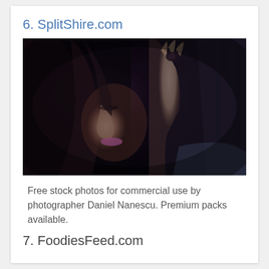6. SplitShire.com
[Figure (photo): A woman with dark hair looking downward, hand raised near her head, photographed in a dark, moody style. Photo from SplitShire.com by Daniel Nanescu.]
Free stock photos for commercial use by photographer Daniel Nanescu.  Premium packs available.
7. FoodiesFeed.com